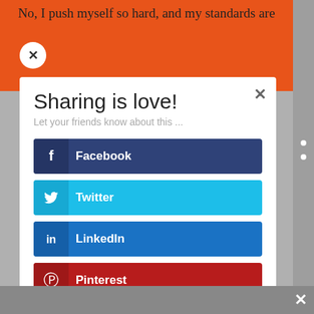No, I push myself so hard, and my standards are
[Figure (screenshot): Social sharing modal dialog with buttons for Facebook, Twitter, LinkedIn, Pinterest, and Evernote]
Sharing is love!
Let your friends know about this ...
Facebook
Twitter
LinkedIn
Pinterest
Evernote